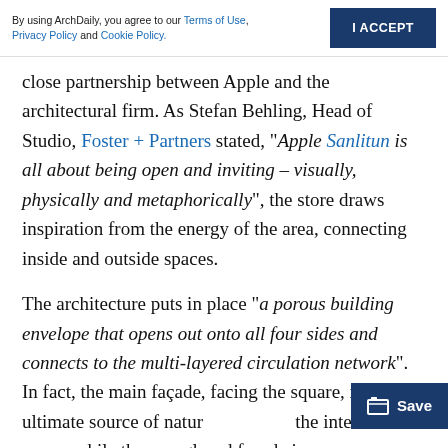By using ArchDaily, you agree to our Terms of Use, Privacy Policy and Cookie Policy.   I ACCEPT
close partnership between Apple and the architectural firm. As Stefan Behling, Head of Studio, Foster + Partners stated, "Apple Sanlitun is all about being open and inviting – visually, physically and metaphorically", the store draws inspiration from the energy of the area, connecting inside and outside spaces.
The architecture puts in place "a porous building envelope that opens out onto all four sides and connects to the multi-layered circulation network". In fact, the main façade, facing the square, is the ultimate source of natur[al light into] the interior space, while the rear glazed façade is [surrounded by] trees. On each side, large staircases lead the visitors towards the Genius Grove.